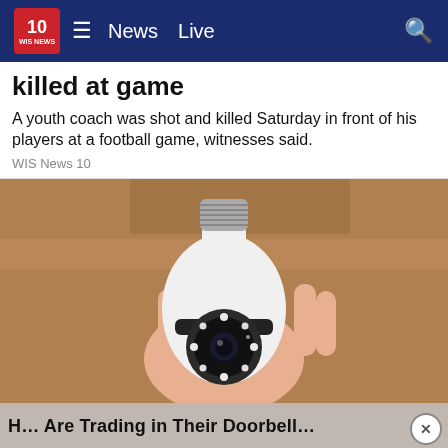10 WIS NEWS  ≡  News  Live  🔍
killed at game
A youth coach was shot and killed Saturday in front of his players at a football game, witnesses said.
WIS News 10
[Figure (photo): A hand holding a white bulb-shaped security camera with a round lens and LED lights, shown against a wooden shelf background.]
H... Are Trading in Their Doorbell...